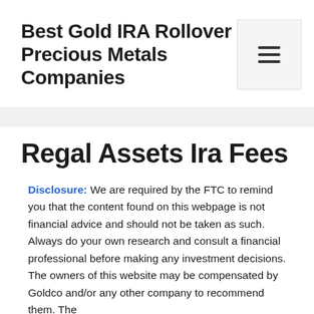Best Gold IRA Rollover - Precious Metals Companies
Regal Assets Ira Fees
Disclosure: We are required by the FTC to remind you that the content found on this webpage is not financial advice and should not be taken as such. Always do your own research and consult a financial professional before making any investment decisions. The owners of this website may be compensated by Goldco and/or any other company to recommend them. The